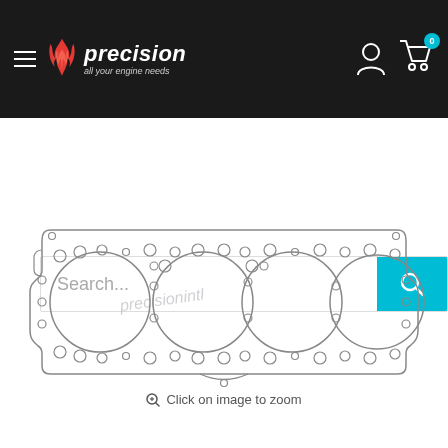[Figure (logo): Precision logo with flame and tagline 'all your engine needs' on dark header bar with hamburger menu, user icon, and cart with badge 0]
[Figure (screenshot): Search bar with 'Search...' placeholder text and cyan search button]
[Figure (engineering-diagram): Technical line drawing of a 4-cylinder engine head gasket showing four large bore holes, bolt holes pattern, coolant passages, and other holes. Watermark reads 'precisionintl']
Click on image to zoom
[Figure (photo): Small thumbnail image of the head gasket, selected with cyan border]